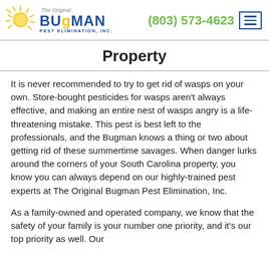[Figure (logo): The Original Bugman Pest Elimination, Inc. logo with sun rays graphic and blue/yellow text]
(803) 573-4623
Property
It is never recommended to try to get rid of wasps on your own. Store-bought pesticides for wasps aren't always effective, and making an entire nest of wasps angry is a life-threatening mistake. This pest is best left to the professionals, and the Bugman knows a thing or two about getting rid of these summertime savages. When danger lurks around the corners of your South Carolina property, you know you can always depend on our highly-trained pest experts at The Original Bugman Pest Elimination, Inc.
As a family-owned and operated company, we know that the safety of your family is your number one priority, and it's our top priority as well. Our technicians undergo the deepest state of the art, and